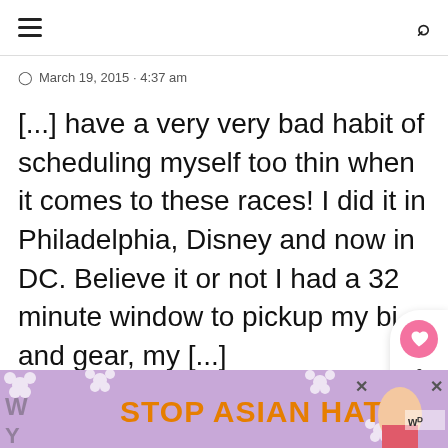Navigation bar with hamburger menu and search icon
March 19, 2015 - 4:37 am
[...] have a very very bad habit of scheduling myself too thin when it comes to these races! I did it in Philadelphia, Disney and now in DC. Believe it or not I had a 32 minute window to pickup my bi and gear, my [...]
[Figure (infographic): Floating social widget with pink heart like button showing count of 6, and a share icon below]
[Figure (infographic): What's Next widget showing thumbnail photo and text 'Trenton Half Marathon...']
[Figure (infographic): Advertisement banner with lavender background showing 'STOP ASIAN HATE' text with decorative flower pattern and anime character illustration]